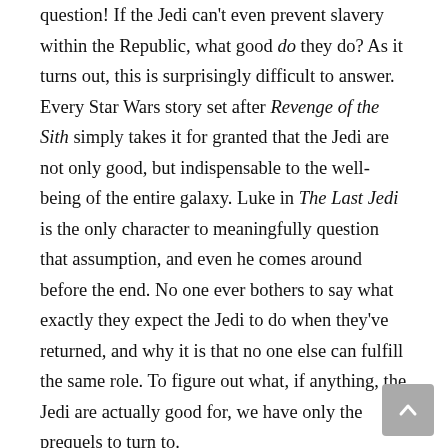question! If the Jedi can't even prevent slavery within the Republic, what good do they do? As it turns out, this is surprisingly difficult to answer. Every Star Wars story set after Revenge of the Sith simply takes it for granted that the Jedi are not only good, but indispensable to the well-being of the entire galaxy. Luke in The Last Jedi is the only character to meaningfully question that assumption, and even he comes around before the end. No one ever bothers to say what exactly they expect the Jedi to do when they've returned, and why it is that no one else can fulfill the same role. To figure out what, if anything, the Jedi are actually good for, we have only the prequels to turn to.
Before the dark times
A common talking point of prequel fans is that the prequels are interesting because they condemn a